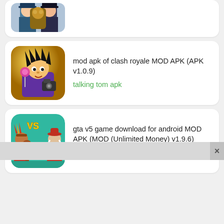[Figure (screenshot): Partial card showing a cropped game app icon at top of page]
[Figure (screenshot): Card with anime-style villain character holding camera, purple outfit, yellow background - Clash Royale mod app listing]
mod apk of clash royale MOD APK (APK v1.0.9)
talking tom apk
[Figure (screenshot): Card with two cartoon western gunfighter characters facing each other with VS text, teal background - GTA v5 mod app listing]
gta v5 game download for android MOD APK (MOD (Unlimited Money) v1.9.6)
Role Playing